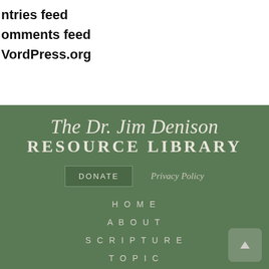ntries feed
omments feed
VordPress.org
The Dr. Jim Denison RESOURCE LIBRARY
DONATE
Privacy Policy
HOME
ABOUT
SCRIPTURE
TOPIC
SERIES